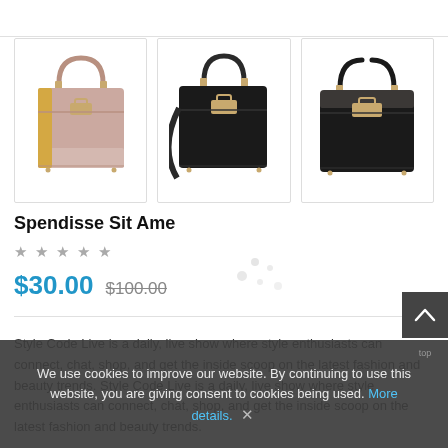[Figure (photo): Three handbags displayed side by side: left is a pink/rose structured tote, center is a black structured tote with shoulder strap, right is a black structured tote without strap, all with gold hardware.]
Spendisse Sit Ame
★ ★ ★ ★ ★
$30.00  $100.00
Style Code Live is a daily, live show where style enthusiasts can connect, chat, shop, and get the inside scoop on the latest fashion and beauty trends. Style Code Live is a daily, live show where style enthusiasts can connect, chat, shop, and get the inside scoop on the latest fashion and beauty trends.
We use cookies to improve our website. By continuing to use this website, you are giving consent to cookies being used. More details.